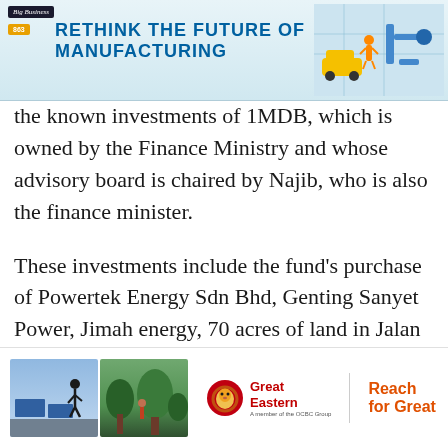[Figure (infographic): Header banner reading 'RETHINK THE FUTURE OF MANUFACTURING' with blue text on light blue background, with a manufacturing/robotics illustration on the right. Includes 'Big Business' logo and page number badge.]
the known investments of 1MDB, which is owned by the Finance Ministry and whose advisory board is chaired by Najib, who is also the finance minister.
These investments include the fund's purchase of Powertek Energy Sdn Bhd, Genting Sanyet Power, Jimah energy, 70 acres of land in Jalan Tun Razak, more land in the former Sungai Besi air force base for the Bandar Malaysia project and land in Air Itam, Penang.
[Figure (illustration): Footer advertisement banner with two photos (person jumping, garden scene) and Great Eastern insurance logo with tagline 'Reach for Great'.]